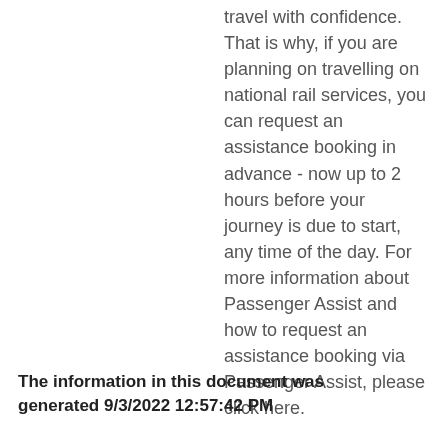travel with confidence. That is why, if you are planning on travelling on national rail services, you can request an assistance booking in advance - now up to 2 hours before your journey is due to start, any time of the day. For more information about Passenger Assist and how to request an assistance booking via Passenger Assist, please click here.
The information in this document was generated 9/3/2022 12:57:42 PM